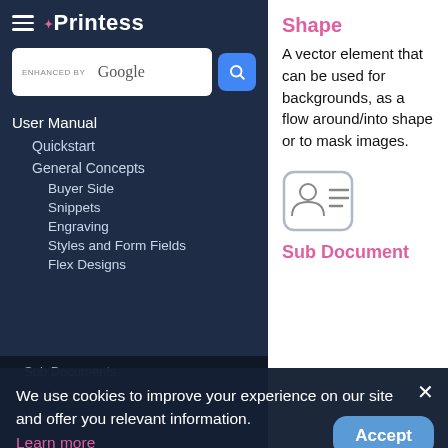[Figure (screenshot): Printess documentation website screenshot showing left navigation panel with logo and menu, and right content panel with Shape and Sub Document entries, plus a cookie consent banner overlay at the bottom.]
Shape
A vector element that can be used for backgrounds, as a flow around/into shape or to mask images.
[Figure (illustration): Sub Document icon: a card/ID style icon with a person silhouette and lines, in a rounded square border.]
Sub Document
Sub Documents are one of the most powerful features of Printess. A Sub Document is essentially another document within the
User Manual
Quickstart
General Concepts
Buyer Side
Snippets
Engraving
Styles and Form Fields
Flex Designs
Sub Documents
Scripting
Workspaces
Frame Features
Document Settings
We use cookies to improve your experience on our site and offer you relevant information.
Learn more
Accept